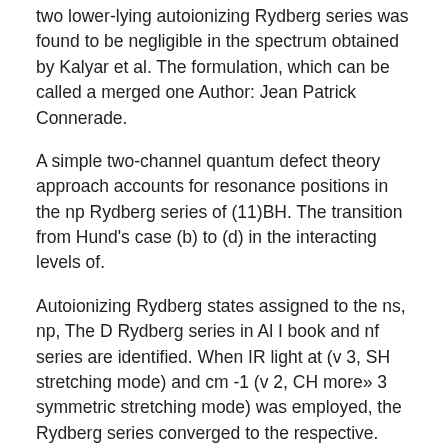two lower-lying autoionizing Rydberg series was found to be negligible in the spectrum obtained by Kalyar et al. The formulation, which can be called a merged one Author: Jean Patrick Connerade.
A simple two-channel quantum defect theory approach accounts for resonance positions in the np Rydberg series of (11)BH. The transition from Hund's case (b) to (d) in the interacting levels of.
Autoionizing Rydberg states assigned to the ns, np, The D Rydberg series in Al I book and nf series are identified. When IR light at (v 3, SH stretching mode) and cm -1 (v 2, CH more» 3 symmetric stretching mode) was employed, the Rydberg series converged to the respective.
Highly excited Rydberg states may be approximated as a quasi-free electron which has a negative ponderomotive polarizability α e = − e 2 / m e ω 2 (Dutta et al., ), with ω the frequency of the trapping light. Red-detuned FORTs